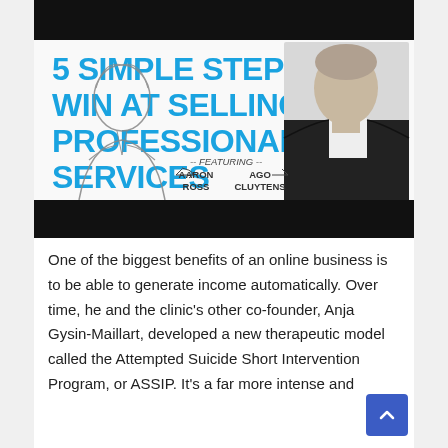[Figure (illustration): Promotional image: '5 Simple Steps to Win at Selling Professional Services' featuring Aaron Ross and Ago Cluytens. Black bars at top and bottom. Title in large blue bold text. Sketch drawing of Aaron Ross on left, photo of Ago Cluytens on right.]
One of the biggest benefits of an online business is to be able to generate income automatically. Over time, he and the clinic's other co-founder, Anja Gysin-Maillart, developed a new therapeutic model called the Attempted Suicide Short Intervention Program, or ASSIP. It's a far more intense and